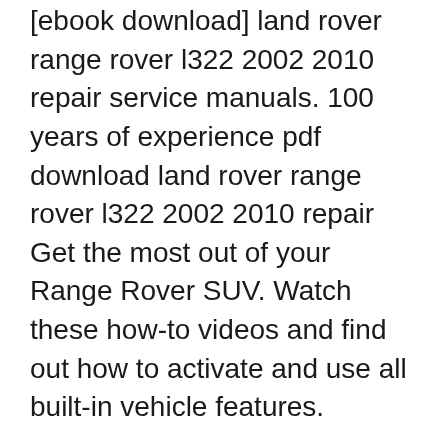[ebook download] land rover range rover l322 2002 2010 repair service manuals. 100 years of experience pdf download land rover range rover l322 2002 2010 repair Get the most out of your Range Rover SUV. Watch these how-to videos and find out how to activate and use all built-in vehicle features.
Free PDF Downloads for all Engine sizes and models for Land Rover Range Rover. Rover Range Rover Service and Repair Manuals. Rover Range Rover L322 2007 2010 Range Rover Owners Club User Manuals database of car and auto owners manuals in pdf for free download or reading online 2010 Ford